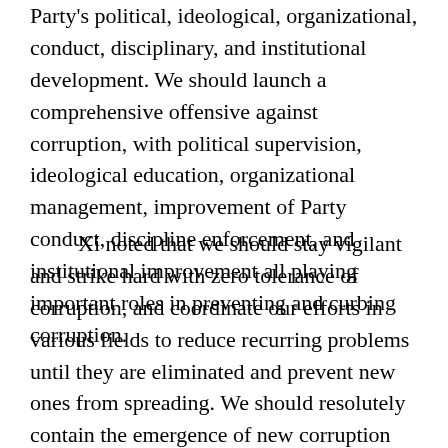Party's political, ideological, organizational, conduct, disciplinary, and institutional development. We should launch a comprehensive offensive against corruption, with political supervision, ideological education, organizational management, improvement of Party conduct, discipline enforcement, and institutional improvement all playing important roles in preventing and curbing corruption.
Xi noted that we should stay vigilant and strike hard with zero tolerance of corruption, and coordinate our efforts in various fields to reduce recurring problems until they are eliminated and prevent new ones from spreading. We should resolutely contain the emergence of new corruption cases and eliminate the existing ones. We need to have an accurate understanding of the characteristics of corruption in different stages and its changing patterns, focus on major areas and key links, take firm actions to "take out tigers," "swat flies," and "hunt down foxes,"